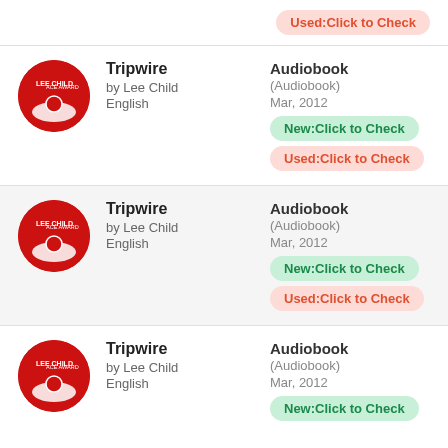Used:Click to Check (partial row at top)
Tripwire by Lee Child English | Audiobook (Audiobook) Mar, 2012 | New:Click to Check | Used:Click to Check
Tripwire by Lee Child English | Audiobook (Audiobook) Mar, 2012 | New:Click to Check | Used:Click to Check
Tripwire by Lee Child English | Audiobook (Audiobook) Mar, 2012 | New:Click to Check